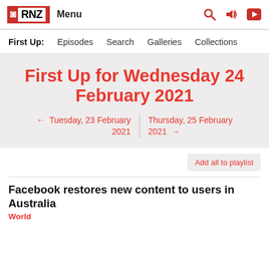RNZ Menu
First Up: Episodes Search Galleries Collections
First Up for Wednesday 24 February 2021
← Tuesday, 23 February 2021 | Thursday, 25 February 2021 →
Add all to playlist
Facebook restores new content to users in Australia
World